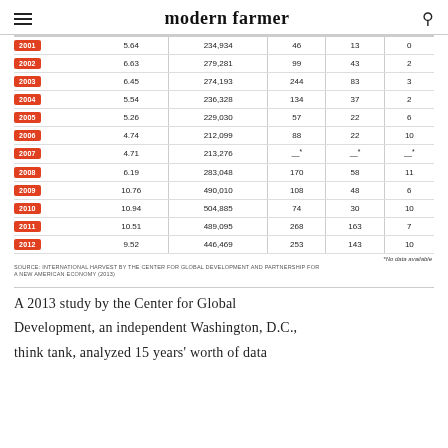modern farmer
| Year | Col2 | Col3 | Col4 | Col5 | Col6 |
| --- | --- | --- | --- | --- | --- |
| 2001 | 5.64 | 234,934 | 46 | 13 | 0 |
| 2002 | 6.63 | 279,281 | 99 | 43 | 2 |
| 2003 | 6.45 | 274,193 | 244 | 83 | 3 |
| 2004 | 5.54 | 236,328 | 134 | 37 | 2 |
| 2005 | 5.26 | 229,030 | 57 | 22 | 6 |
| 2006 | 4.74 | 212,099 | 88 | 22 | 10 |
| 2007 | 4.71 | 213,276 | —* | —* | —* |
| 2008 | 6.19 | 283,048 | 170 | 58 | 11 |
| 2009 | 10.76 | 490,010 | 108 | 48 | 6 |
| 2010 | 10.94 | 504,885 | 74 | 30 | 10 |
| 2011 | 10.51 | 489,095 | 268 | 163 | 7 |
| 2012 | 9.52 | 446,469 | 253 | 143 | 10 |
*No data available
SOURCE: INTERNATIONAL HARVEST BY THE CENTER FOR GLOBAL DEVELOPMENT AND PARTNERSHIP FOR A NEW AMERICAN ECONOMY (2013)
A 2013 study by the Center for Global Development, an independent Washington, D.C., think tank, analyzed 15 years' worth of data